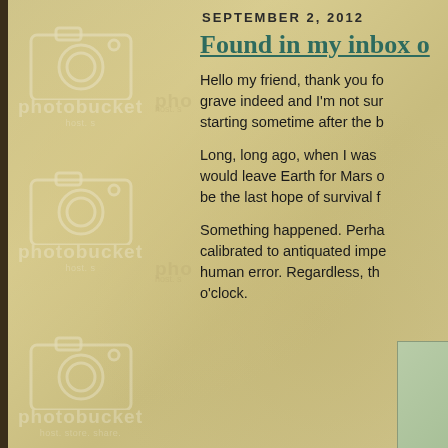[Figure (photo): Parchment/aged paper background with photobucket watermark placeholder images showing camera icons and 'photobucket host. store. share.' text repeated three times vertically on the left side]
SEPTEMBER 2, 2012
Found in my inbox o
Hello my friend, thank you fo grave indeed and I'm not sur starting sometime after the b
Long, long ago, when I was would leave Earth for Mars o be the last hope of survival f
Something happened. Perha calibrated to antiquated impe human error. Regardless, th o'clock.